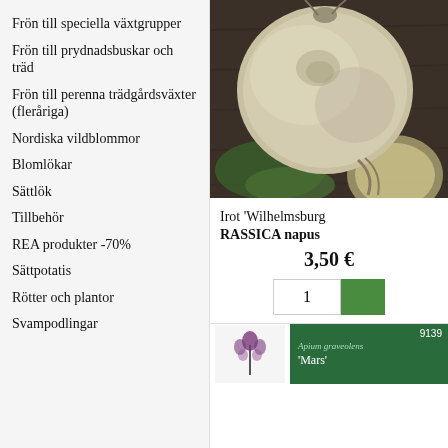Frön till speciella växtgrupper
Frön till prydnadsbuskar och träd
Frön till perenna trädgårdsväxter (fleråriga)
Nordiska vildblommor
Blomlökar
Sättlök
Tillbehör
REA produkter -70%
Sättpotatis
Rötter och plantor
Svampodlingar
[Figure (photo): Close-up photo of a large pale/cream-coloured turnip/swede root vegetable with green leaves on a dark wooden background]
Irot 'Wilhelmsburg RASSICA napus
3,50 €
[Figure (screenshot): Small product card thumbnail showing 'Apium graveolens Mars' with plant illustration on green background, number 9139]